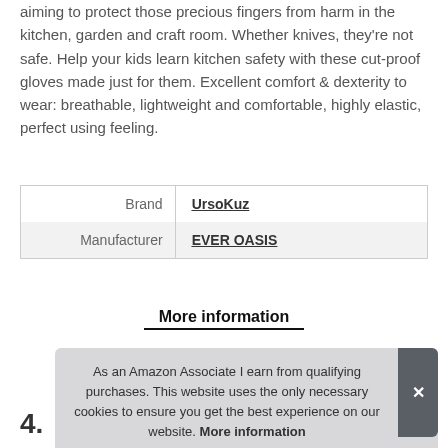aiming to protect those precious fingers from harm in the kitchen, garden and craft room. Whether knives, they're not safe. Help your kids learn kitchen safety with these cut-proof gloves made just for them. Excellent comfort & dexterity to wear: breathable, lightweight and comfortable, highly elastic, perfect using feeling.
| Brand | UrsoKuz |
| Manufacturer | EVER OASIS |
More information
As an Amazon Associate I earn from qualifying purchases. This website uses the only necessary cookies to ensure you get the best experience on our website. More information
4.